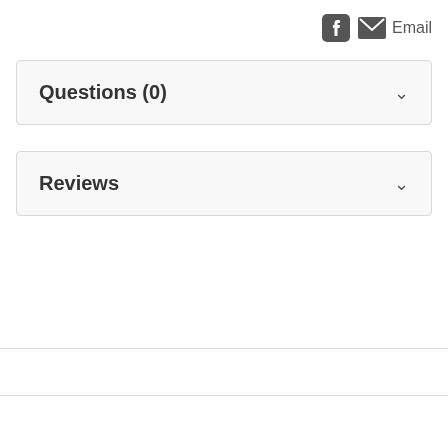[Figure (other): Facebook icon and Email icon with label in top right corner]
Questions (0)
Reviews